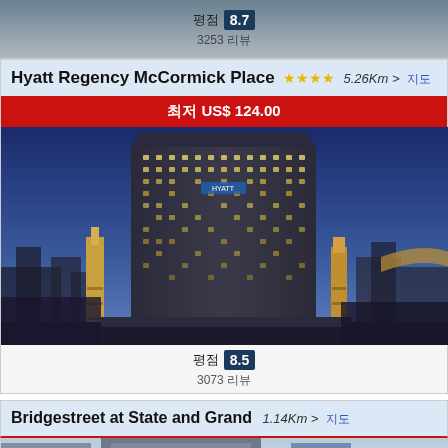[Figure (photo): Partial hotel photo at top of page with rating overlay]
평점 8.7
3253 리뷰
Hyatt Regency McCormick Place ★★★★ 5.26Km > 지도
최저 US$ 124.00
[Figure (photo): Hyatt Regency McCormick Place hotel exterior at dusk, tall dark glass tower]
평점 8.5
3073 리뷰
Bridgestreet at State and Grand 1.14Km > 지도
[Figure (photo): Bridgestreet at State and Grand building exterior, urban setting]